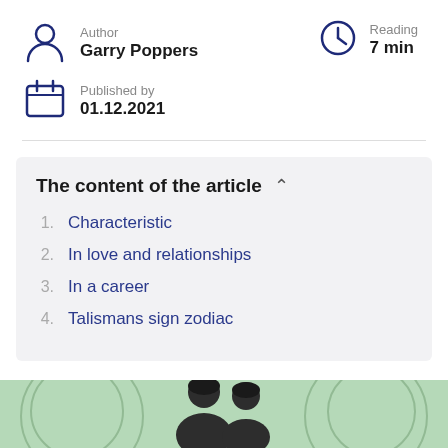Author
Garry Poppers
Reading
7 min
Published by
01.12.2021
The content of the article
1. Characteristic
2. In love and relationships
3. In a career
4. Talismans sign zodiac
[Figure (photo): Bottom strip showing a green background with zodiac-style circular decorations and two human silhouettes (dark hair, partially visible)]